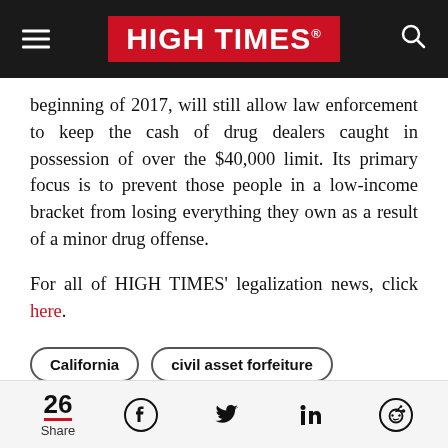HIGH TIMES®
beginning of 2017, will still allow law enforcement to keep the cash of drug dealers caught in possession of over the $40,000 limit. Its primary focus is to prevent those people in a low-income bracket from losing everything they own as a result of a minor drug offense.
For all of HIGH TIMES' legalization news, click here.
California
civil asset forfeiture
26 Share